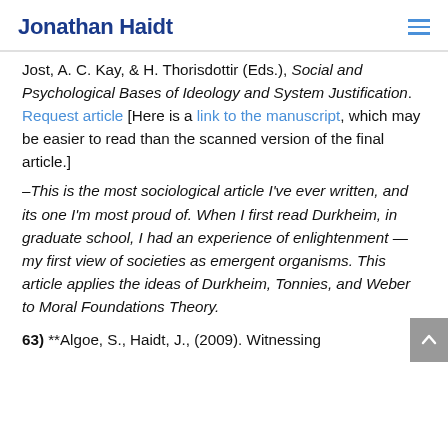Jonathan Haidt
Jost, A. C. Kay, & H. Thorisdottir (Eds.), Social and Psychological Bases of Ideology and System Justification. Request article [Here is a link to the manuscript, which may be easier to read than the scanned version of the final article.]
–This is the most sociological article I've ever written, and its one I'm most proud of. When I first read Durkheim, in graduate school, I had an experience of enlightenment — my first view of societies as emergent organisms. This article applies the ideas of Durkheim, Tonnies, and Weber to Moral Foundations Theory.
63) **Algoe, S., Haidt, J., (2009). Witnessing